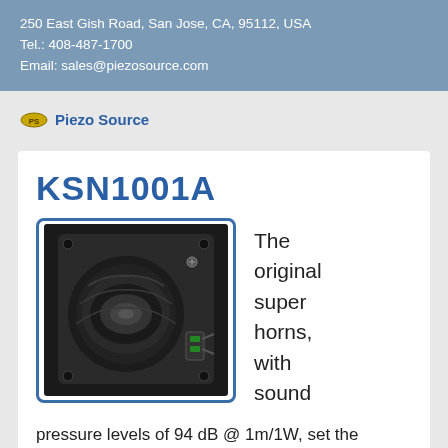250 East Gish Road, San Jose, CA, 95112, USA
Tel.: 408-487-1700
Email: sales@piezosource.com
[Figure (logo): Piezo Source logo with oval badge and bold blue text]
KSN1001A
[Figure (photo): Photo of KSN1001A piezo super horn speaker, black, square mounting plate with horn]
The original super horns, with sound
pressure levels of 94 dB @ 1m/1W, set the standard for piezo speakers. A smooth response from 4 kHz to 20 kHz makes them